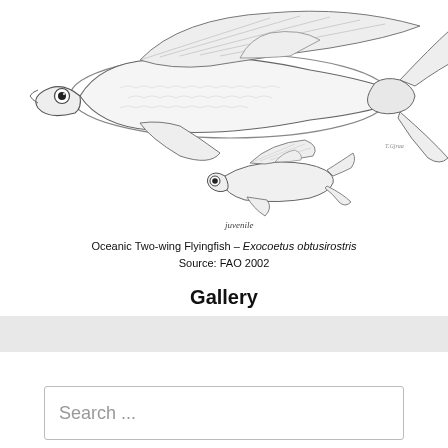[Figure (illustration): Scientific illustration of the Oceanic Two-wing Flyingfish (Exocoetus obtusirostris). Top: adult fish with large pectoral fins spread like wings, detailed scale and fin rendering, artist signature bottom-right. Bottom: smaller juvenile fish with label 'juvenile' below it.]
Oceanic Two-wing Flyingfish – Exocoetus obtusirostris
Source: FAO 2002
Gallery
Search ...